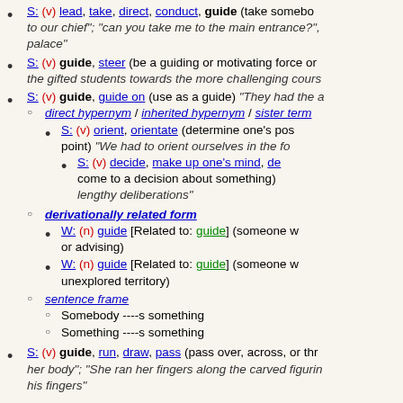S: (v) lead, take, direct, conduct, guide (take somebody somewhere) italic examples truncated
S: (v) guide, steer (be a guiding or motivating force or ...) the gifted students towards the more challenging cours...
S: (v) guide, guide on (use as a guide) "They had the ..."
direct hypernym / inherited hypernym / sister term...
S: (v) orient, orientate (determine one's position) "We had to orient ourselves in the fo..."
S: (v) decide, make up one's mind, de... (come to a decision about something) ...lengthy deliberations"
derivationally related form
W: (n) guide [Related to: guide] (someone w... or advising)
W: (n) guide [Related to: guide] (someone w... unexplored territory)
sentence frame
Somebody ----s something
Something ----s something
S: (v) guide, run, draw, pass (pass over, across, or thr...) "her body"; "She ran her fingers along the carved figurin..." "his fingers"